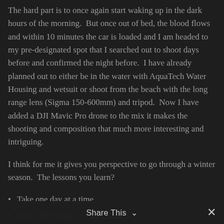The hard part is to once again start waking up in the dark hours of the morning.  But once out of bed, the blood flows and within 10 minutes the car is loaded and I am headed to my pre-designated spot that I searched out to shoot days before and confirmed the night before.  I have already planned out to either be in the water with AquaTech Water Housing and wetsuit or shoot from the beach with the long range lens (Sigma 150-600mm) and tripod.  Now I have added a DJI Mavic Pro drone to the mix it makes the shooting and composition that much more interesting and intriguing.
I think for me it gives you perspective to go through a winter season.  The lessons you learn?
Take one day at a time
Enjoy the things you love to do
Enjoy the time spent with family and friends
And Most of all…don't try to control every
Share This  ∨  ✕